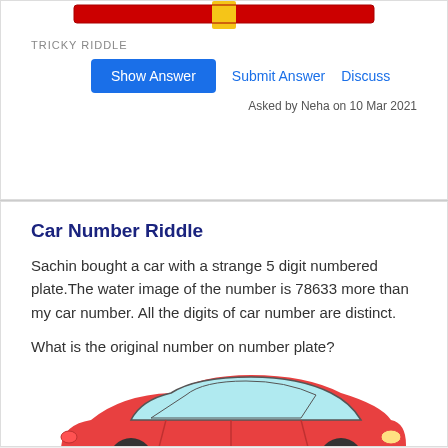[Figure (logo): Website logo banner at the top, partially visible, red and yellow colored]
TRICKY RIDDLE
Show Answer   Submit Answer   Discuss
Asked by Neha on 10 Mar 2021
Car Number Riddle
Sachin bought a car with a strange 5 digit numbered plate.The water image of the number is 78633 more than my car number. All the digits of car number are distinct.
What is the original number on number plate?
[Figure (illustration): Illustration of a red cartoon car, partially visible at the bottom of the page]